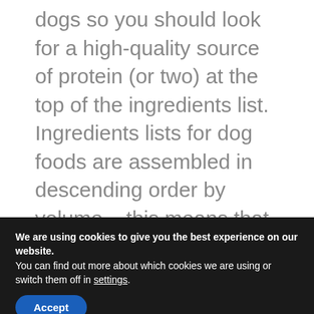dogs so you should look for a high-quality source of protein (or two) at the top of the ingredients list. Ingredients lists for dog foods are assembled in descending order by volume – this means that the ingredients at the top of the list are present in the highest quantities. So, if a product lists something like deboned chicken or fresh
We are using cookies to give you the best experience on our website.
You can find out more about which cookies we are using or switch them off in settings.
Accept